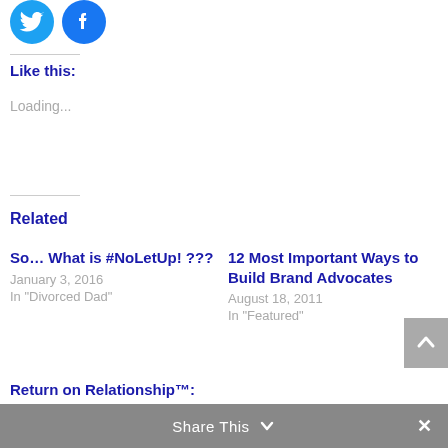[Figure (illustration): Twitter and Facebook social share icon buttons (circular, blue)]
Like this:
Loading...
Related
So… What is #NoLetUp! ???
January 3, 2016
In "Divorced Dad"
12 Most Important Ways to Build Brand Advocates
August 18, 2011
In "Featured"
Return on Relationship™: The New Measure of Success
April 5, 2011
In "Featured"
Share This  ∨  ✕